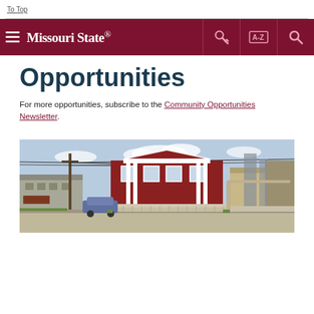To Top
Missouri State | Navigation icons: key, A-Z, search
Opportunities
For more opportunities, subscribe to the Community Opportunities Newsletter.
[Figure (photo): Exterior street-view photo of a two-story red brick building with white columns and a deck/porch, surrounded by other commercial buildings and utility poles.]